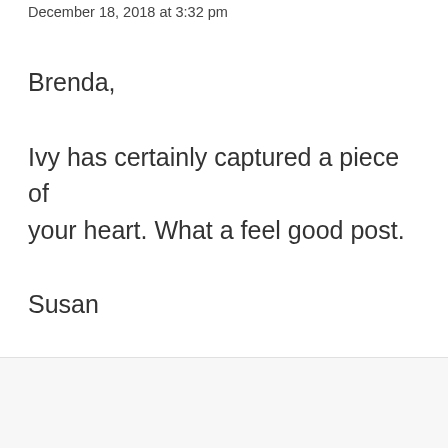December 18, 2018 at 3:32 pm
Brenda,
Ivy has certainly captured a piece of your heart. What a feel good post.
Susan
Reply